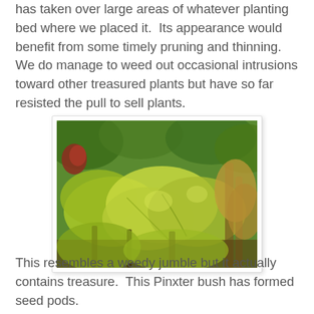has taken over large areas of whatever planting bed where we placed it.  Its appearance would benefit from some timely pruning and thinning.  We do manage to weed out occasional intrusions toward other treasured plants but have so far resisted the pull to sell plants.
[Figure (photo): Close-up photo of dense green garden plants including a Pinxter bush forming seed pods, showing a weedy but treasure-filled jumble of foliage.]
This resembles a weedy jumble but it actually contains treasure.  This Pinxter bush has formed seed pods.  Checked daily, we plan to harvest some seed at exactly the right moment and again attempt to raise some of these